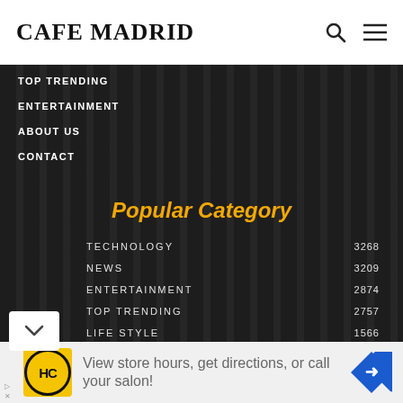CAFE MADRID
TOP TRENDING
ENTERTAINMENT
ABOUT US
CONTACT
Popular Category
| Category | Count |
| --- | --- |
| TECHNOLOGY | 3268 |
| NEWS | 3209 |
| ENTERTAINMENT | 2874 |
| TOP TRENDING | 2757 |
| LIFE STYLE | 1566 |
| BUSINESS | 1441 |
[Figure (screenshot): Advertisement banner: View store hours, get directions, or call your salon!]